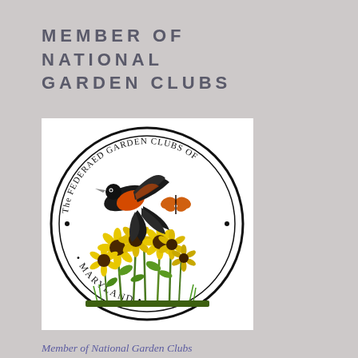MEMBER OF NATIONAL GARDEN CLUBS
[Figure (logo): Circular seal logo of The Federeted Garden Clubs of Maryland, featuring an oriole bird in flight over black-eyed Susan flowers with a butterfly, surrounded by text reading 'THE FEDERAED GARDEN CLUBS OF MARYLAND']
Member of National Garden Clubs